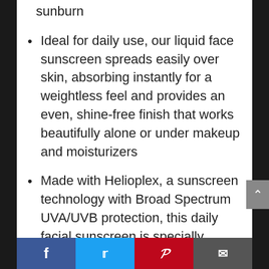sunburn
Ideal for daily use, our liquid face sunscreen spreads easily over skin, absorbing instantly for a weightless feel and provides an even, shine-free finish that works beautifully alone or under makeup and moisturizers
Made with Helioplex, a sunscreen technology with Broad Spectrum UVA/UVB protection, this daily facial sunscreen is specially formulated to be both water-resistant and sweatproof
When used as directed with other